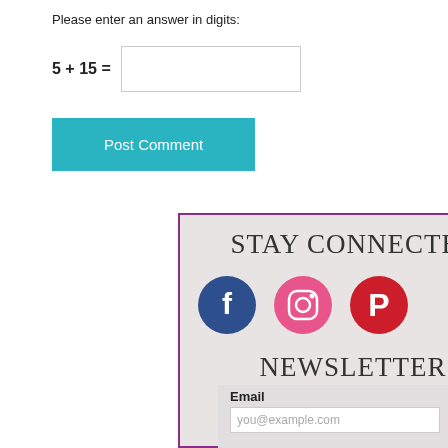Please enter an answer in digits:
Post Comment
STAY CONNECTED
[Figure (infographic): Three social media icons: Facebook (blue circle with f), Instagram (pink circle with camera icon), Pinterest (red circle with P)]
NEWSLETTER
Email
you@example.com